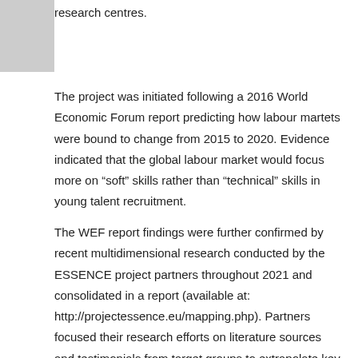research centres.
The project was initiated following a 2016 World Economic Forum report predicting how labour martets were bound to change from 2015 to 2020. Evidence indicated that the global labour market would focus more on “soft” skills rather than “technical” skills in young talent recruitment.
The WEF report findings were further confirmed by recent multidimensional research conducted by the ESSENCE project partners throughout 2021 and consolidated in a report (available at: http://projectessence.eu/mapping.php). Partners focused their research efforts on literature sources and testimonials from target groups to extrapolate key conclusions, recommendations and case studies,